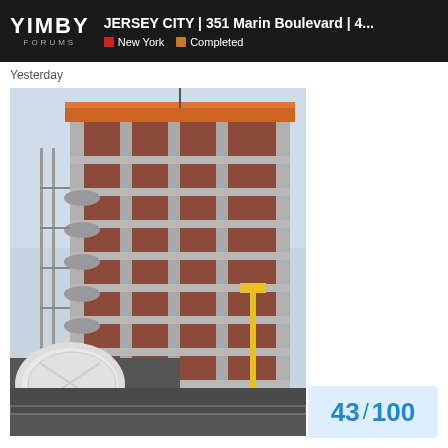YIMBY FORUMS | JERSEY CITY | 351 Marin Boulevard | 4... | New York | Completed
Yesterday
[Figure (photo): Construction photo of a multi-story building under construction in Jersey City, showing concrete frame with brick infill and scaffolding. A cement mixer truck is visible in the foreground.]
43 / 100